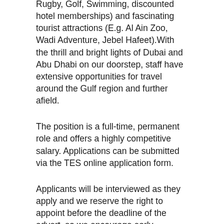Rugby, Golf, Swimming, discounted hotel memberships) and fascinating tourist attractions (E.g. Al Ain Zoo, Wadi Adventure, Jebel Hafeet).With the thrill and bright lights of Dubai and Abu Dhabi on our doorstep, staff have extensive opportunities for travel around the Gulf region and further afield.
The position is a full-time, permanent role and offers a highly competitive salary. Applications can be submitted via the TES online application form.
Applicants will be interviewed as they apply and we reserve the right to appoint before the deadline of the advert, so we encourage early applications.